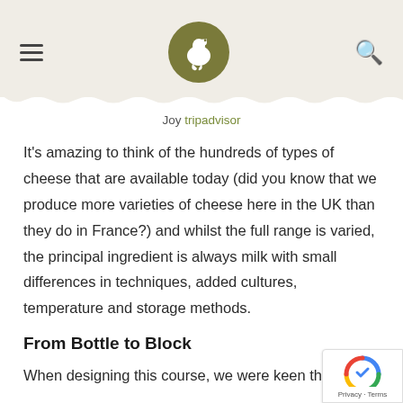[Navigation header with hamburger menu, chicken logo, and search icon]
Joy tripadvisor
It's amazing to think of the hundreds of types of cheese that are available today (did you know that we produce more varieties of cheese here in the UK than they do in France?) and whilst the full range is varied, the principal ingredient is always milk with small differences in techniques, added cultures, temperature and storage methods.
From Bottle to Block
When designing this course, we were keen that